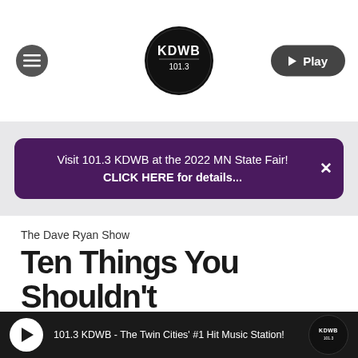[Figure (logo): KDWB 101.3 circular logo in black and white]
[Figure (logo): Hamburger menu icon button (three lines) in dark circle]
▶ Play
Visit 101.3 KDWB at the 2022 MN State Fair!
CLICK HERE for details...
The Dave Ryan Show
Ten Things You Shouldn't Have in Your Home Once
101.3 KDWB - The Twin Cities' #1 Hit Music Station!